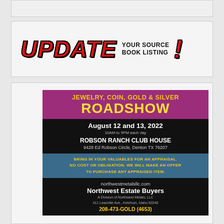[Figure (illustration): Partial top advertisement block, mostly cut off at top of page]
[Figure (illustration): UPDATE YOUR SOURCE BOOK LISTING! promotional advertisement with stylized red italic UPDATE text and exclamation mark]
[Figure (illustration): Jewelry, Coin, Gold & Silver Roadshow advertisement for Northwest Estate Buyers. Event dates August 12 and 13, 2022, 10AM to 5PM each day. Location: Robson Ranch Club House, 9428 Ed Robson Circle, Denton TX 76207. Free appraisals. northwestmetalsllc.com. Northwest Estate Buyers, A Division of Northwest Metals, LLC, 411 Leadville Ave., Ketchum, Idaho 83340. 208-473-GOLD (4653).]